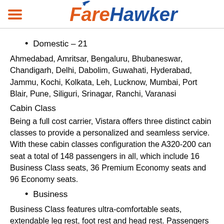FareHawker
Domestic – 21
Ahmedabad, Amritsar, Bengaluru, Bhubaneswar, Chandigarh, Delhi, Dabolim, Guwahati, Hyderabad, Jammu, Kochi, Kolkata, Leh, Lucknow, Mumbai, Port Blair, Pune, Siliguri, Srinagar, Ranchi, Varanasi
Cabin Class
Being a full cost carrier, Vistara offers three distinct cabin classes to provide a personalized and seamless service. With these cabin classes configuration the A320-200 can seat a total of 148 passengers in all, which include 16 Business Class seats, 36 Premium Economy seats and 96 Economy seats.
Business
Business Class features ultra-comfortable seats, extendable leg rest, foot rest and head rest. Passengers flying Business Class enjoy dedicated check in counters, priority security